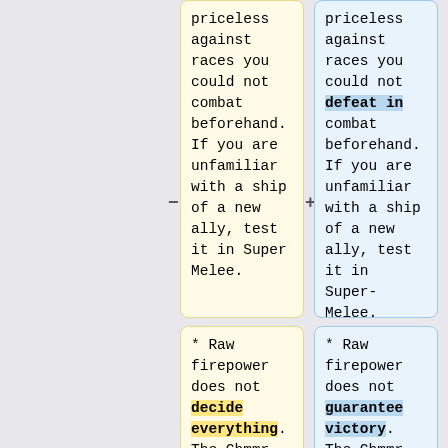priceless against races you could not combat beforehand. If you are unfamiliar with a ship of a new ally, test it in Super Melee.
priceless against races you could not defeat in combat beforehand. If you are unfamiliar with a ship of a new ally, test it in Super-Melee.
* Raw firepower does not decide everything. The Chmmr [[Avatar]],
* Raw firepower does not guarantee victory. The Chmmr [[Avatar]],